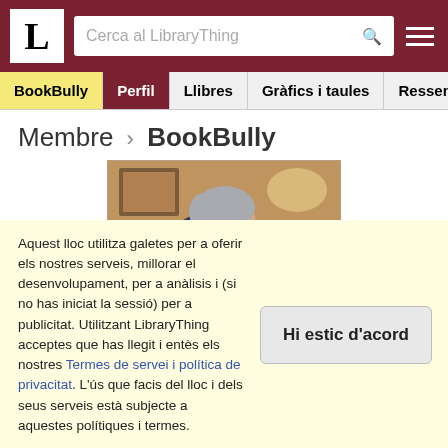LibraryThing - Cerca al LibraryThing
BookBully | Perfil | Llibres | Gràfics i taules | Ressenyes
Membre > BookBully
[Figure (photo): Profile photo of an older person with short gray hair and glasses reading a book with a baby on their lap]
Aquest lloc utilitza galetes per a oferir els nostres serveis, millorar el desenvolupament, per a anàlisis i (si no has iniciat la sessió) per a publicitat. Utilitzant LibraryThing acceptes que has llegit i entès els nostres Termes de servei i política de privacitat. L'ús que facis del lloc i dels seus serveis està subjecte a aquestes polítiques i termes.